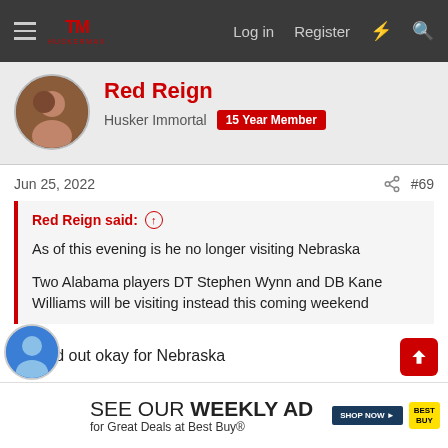HuskerMax forum header — Log in | Register
Red Reign
Husker Immortal  15 Year Member
Jun 25, 2022  #69
Red Reign said: ↑
As of this evening is he no longer visiting Nebraska
Two Alabama players DT Stephen Wynn and DB Kane Williams will be visiting instead this coming weekend
Turned out okay for Nebraska
Oh and best to Lamar Goods
Beareye and Sandhills Husker
[Figure (screenshot): Best Buy advertisement: SEE OUR WEEKLY AD for Great Deals at Best Buy®, with SHOP NOW button and Best Buy logo]